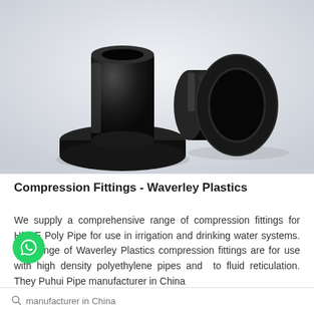[Figure (photo): Two black HDPE stub flange fittings photographed on a white/light grey background. One fitting stands upright showing its cylindrical body and wide circular flange base. The second fitting lies on its side showing the hollow interior opening.]
Compression Fittings - Waverley Plastics
We supply a comprehensive range of compression fittings for HDPE Poly Pipe for use in irrigation and drinking water systems. The range of Waverley Plastics compression fittings are for use with high density polyethylene pipes and to fluid reticulation. They Puhui Pipe manufacturer in China